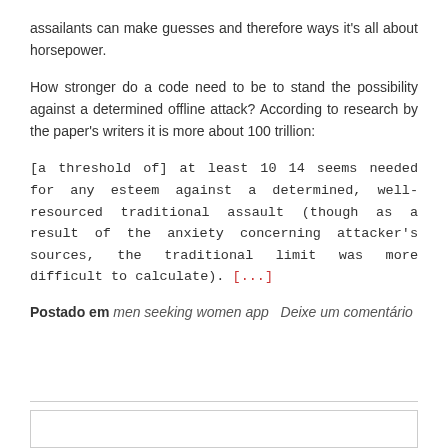assailants can make guesses and therefore ways it's all about horsepower.
How stronger do a code need to be to stand the possibility against a determined offline attack? According to research by the paper's writers it is more about 100 trillion:
[a threshold of] at least 10 14 seems needed for any esteem against a determined, well-resourced traditional assault (though as a result of the anxiety concerning attacker's sources, the traditional limit was more difficult to calculate). [...]
Postado em men seeking women app   Deixe um comentário